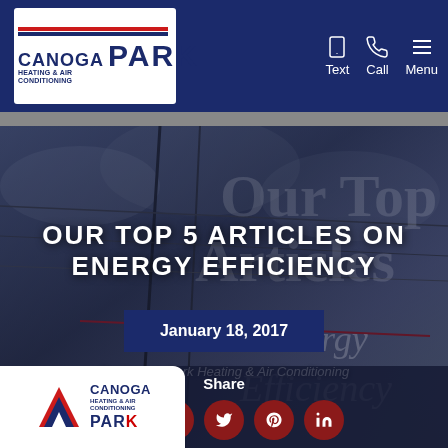Canoga Park Heating & Air Conditioning — Text | Call | Menu
[Figure (screenshot): Hero image with power lines and cloudy sky background, dark overlay, with large decorative text 'Our Top Articles on Energy Efficiency' in the background]
OUR TOP 5 ARTICLES ON ENERGY EFFICIENCY
January 18, 2017
By Canoga Park Heating & Air Conditioning
Share
[Figure (logo): Canoga Park Heating & Air Conditioning logo at bottom left]